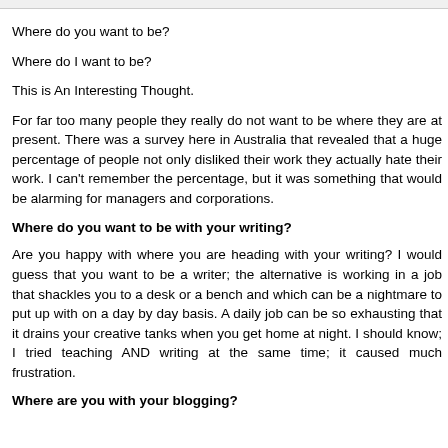Where do you want to be?
Where do I want to be?
This is An Interesting Thought.
For far too many people they really do not want to be where they are at present. There was a survey here in Australia that revealed that a huge percentage of people not only disliked their work they actually hate their work. I can't remember the percentage, but it was something that would be alarming for managers and corporations.
Where do you want to be with your writing?
Are you happy with where you are heading with your writing? I would guess that you want to be a writer; the alternative is working in a job that shackles you to a desk or a bench and which can be a nightmare to put up with on a day by day basis. A daily job can be so exhausting that it drains your creative tanks when you get home at night. I should know; I tried teaching AND writing at the same time; it caused much frustration.
Where are you with your blogging?